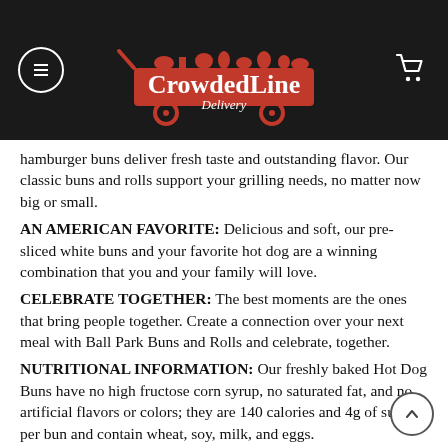CrowdedLine Delivery
hamburger buns deliver fresh taste and outstanding flavor. Our classic buns and rolls support your grilling needs, no matter now big or small.
AN AMERICAN FAVORITE: Delicious and soft, our pre-sliced white buns and your favorite hot dog are a winning combination that you and your family will love.
CELEBRATE TOGETHER: The best moments are the ones that bring people together. Create a connection over your next meal with Ball Park Buns and Rolls and celebrate, together.
NUTRITIONAL INFORMATION: Our freshly baked Hot Dog Buns have no high fructose corn syrup, no saturated fat, and no artificial flavors or colors; they are 140 calories and 4g of sugar per bun and contain wheat, soy, milk, and eggs.
PARTY PERFECT: Take a taste of the ballpark wherever you go. Bring America's favorite buns to tailgate at any sporting event. Our buns are a party staple for kids or for anyone who wants a taste of summer any time of year at your next celebration.
GET OUT AND GRILL: Ball Park buns and grilling go hand-in-hand. Fire up the grill with hot dogs, brats, Italian sausage, and veggie dogs. Don't forget the ketchup, mustard, relish, and all of your